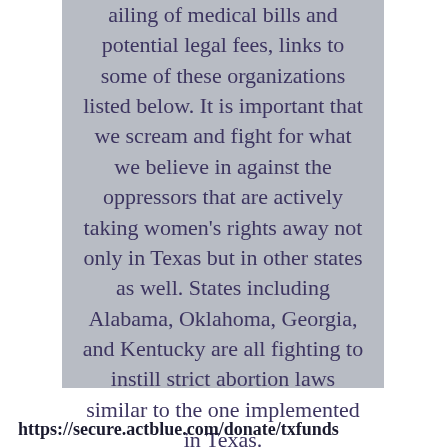ailing of medical bills and potential legal fees, links to some of these organizations listed below. It is important that we scream and fight for what we believe in against the oppressors that are actively taking women's rights away not only in Texas but in other states as well. States including Alabama, Oklahoma, Georgia, and Kentucky are all fighting to instill strict abortion laws similar to the one implemented in Texas.
https://secure.actblue.com/donate/txfunds